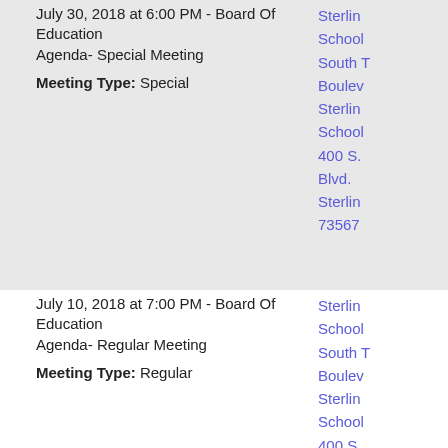July 30, 2018 at 6:00 PM - Board Of Education Agenda- Special Meeting
Meeting Type: Special
Sterling School South T... Boulevard Sterling School 400 S. Blvd. Sterling 73567
July 10, 2018 at 7:00 PM - Board Of Education Agenda- Regular Meeting
Meeting Type: Regular
Sterling School South T... Boulevard Sterling School 400 S. Blvd.